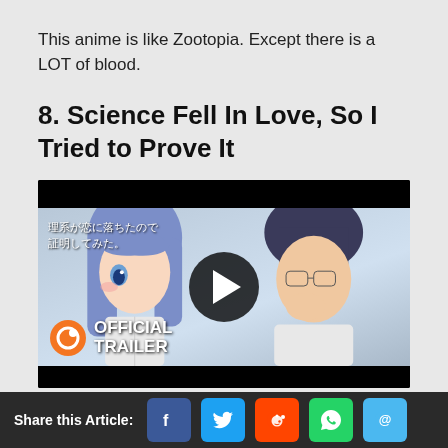This anime is like Zootopia. Except there is a LOT of blood.
8. Science Fell In Love, So I Tried to Prove It
[Figure (screenshot): YouTube-style video thumbnail for 'Science Fell In Love, So I Tried to Prove It' official trailer. Shows two anime characters — a blue-haired girl on the left and a dark-haired bespectacled boy on the right — with Japanese text overlay and a Crunchyroll logo with 'OFFICIAL TRAILER' text. A play button is centered over the image.]
Share this Article: